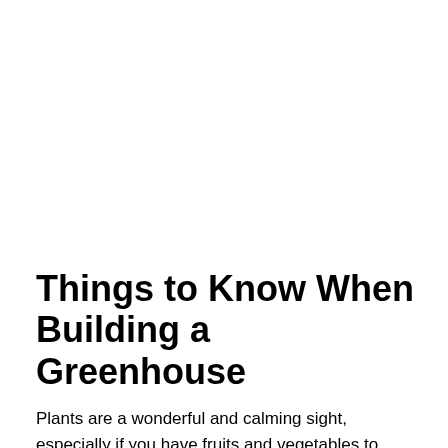Things to Know When Building a Greenhouse
Plants are a wonderful and calming sight, especially if you have fruits and vegetables to harvest right in